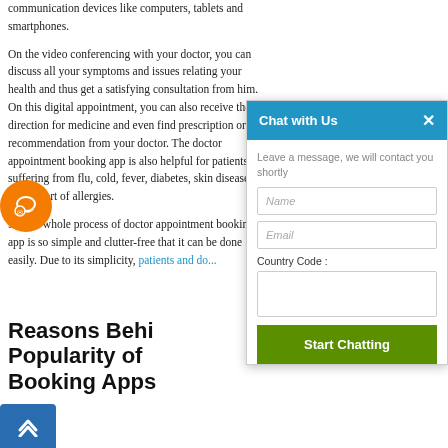communication devices like computers, tablets and smartphones.
On the video conferencing with your doctor, you can discuss all your symptoms and issues relating your health and thus get a satisfying consultation from him. On this digital appointment, you can also receive the direction for medicine and even find prescription or recommendation from your doctor. The doctor appointment booking app is also helpful for patients suffering from flu, cold, fever, diabetes, skin disease, or any sort of allergies.
So, the whole process of doctor appointment booking app is so simple and clutter-free that it can be done easily. Due to its simplicity, patients and doctors are benefiting heavily from this field.
Reasons Behind the Popularity of Doctor Appointment Booking Apps
[Figure (other): Orange circular button with phone/email icon]
[Figure (other): Blue scroll-to-top button with chevron icon]
[Figure (screenshot): Chat with Us widget overlay. Contains header 'Chat with Us' with X close button, placeholder text 'Leave a message, we will contact you shortly', Name input field, Email input field, Country Code label, empty input field, and a green 'Start Chatting' button.]